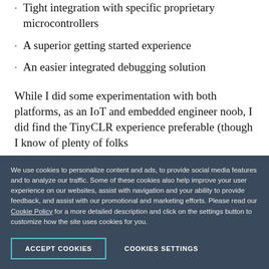Tight integration with specific proprietary microcontrollers
A superior getting started experience
An easier integrated debugging solution
While I did some experimentation with both platforms, as an IoT and embedded engineer noob, I did find the TinyCLR experience preferable (though I know of plenty of folks
We use cookies to personalize content and ads, to provide social media features and to analyze our traffic. Some of these cookies also help improve your user experience on our websites, assist with navigation and your ability to provide feedback, and assist with our promotional and marketing efforts. Please read our Cookie Policy for a more detailed description and click on the settings button to customize how the site uses cookies for you.